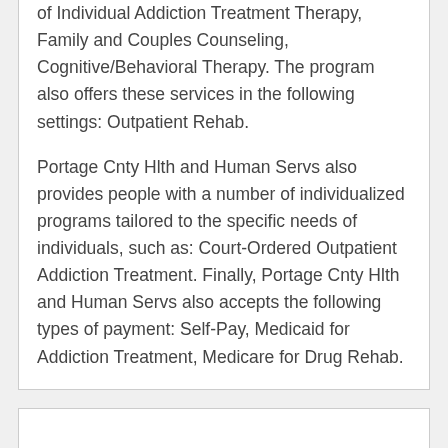of Individual Addiction Treatment Therapy, Family and Couples Counseling, Cognitive/Behavioral Therapy. The program also offers these services in the following settings: Outpatient Rehab.
Portage Cnty Hlth and Human Servs also provides people with a number of individualized programs tailored to the specific needs of individuals, such as: Court-Ordered Outpatient Addiction Treatment. Finally, Portage Cnty Hlth and Human Servs also accepts the following types of payment: Self-Pay, Medicaid for Addiction Treatment, Medicare for Drug Rehab.